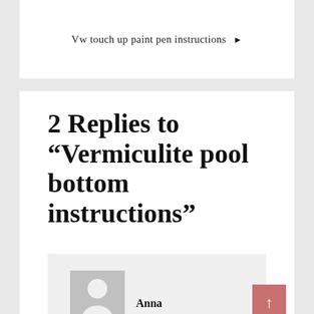Vw touch up paint pen instructions ▶
2 Replies to “Vermiculite pool bottom instructions”
[Figure (illustration): Default user avatar placeholder with silhouette of a person on grey background]
Anna